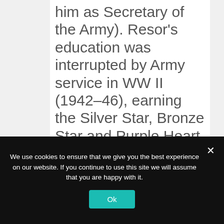him as Secretary of the Army). Resor's education was interrupted by Army service in WW II (1942–46), earning the Silver Star, Bronze Star and Purple Heart. After the war he worked on Wall Street and made a partner at the Debevoise & Plimpton law firm. In 1965, during the Vietnam War, President Johnson appointed Resor, a Republican, as Secretary of the
We use cookies to ensure that we give you the best experience on our website. If you continue to use this site we will assume that you are happy with it.